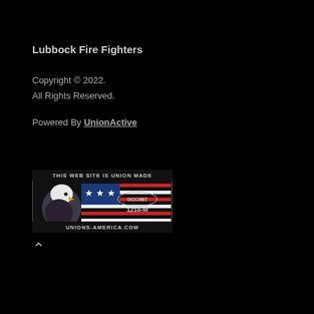Lubbock Fire Fighters
Copyright © 2022.
All Rights Reserved.
Powered By UnionActive
[Figure (illustration): Union Made badge with bald eagle and American flag. Text reads: THIS WEB SITE IS UNION MADE, GCC/IBT, 1218-M, UNIONS-AMERICA.COM]
^